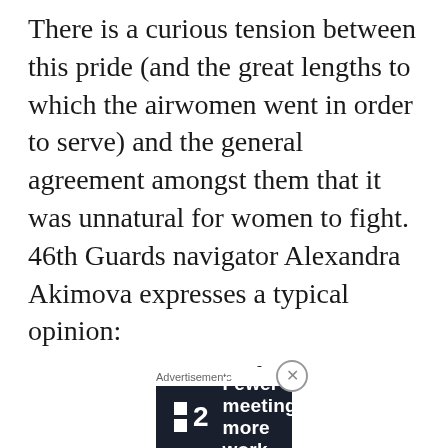There is a curious tension between this pride (and the great lengths to which the airwomen went in order to serve) and the general agreement amongst them that it was unnatural for women to fight. 46th Guards navigator Alexandra Akimova expresses a typical opinion:
The very nature of a woman rejects the
Advertisements
[Figure (other): Dark advertisement banner for a product called '2' with text 'Fewer meetings, more work.' on a dark navy background with white squares logo.]